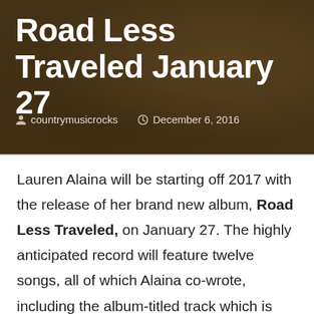Road Less Traveled January 27
countrymusicrocks   December 6, 2016
Lauren Alaina will be starting off 2017 with the release of her brand new album, Road Less Traveled, on January 27. The highly anticipated record will feature twelve songs, all of which Alaina co-wrote, including the album-titled track which is currently Top 20 at country radio.